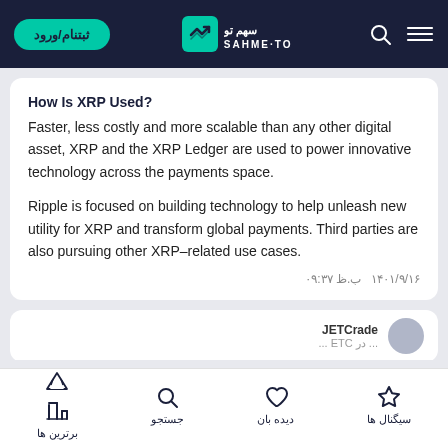ثبتنام/ورود | SAHME-TO
How Is XRP Used?
Faster, less costly and more scalable than any other digital asset, XRP and the XRP Ledger are used to power innovative technology across the payments space.

Ripple is focused on building technology to help unleash new utility for XRP and transform global payments. Third parties are also pursuing other XRP–related use cases.
ب.ظ ۰۹:۳۷   ۱۴۰۱/۹/۱۶
JETCrade
سیگنال ها | دیده بان | جستجو | برترین ها